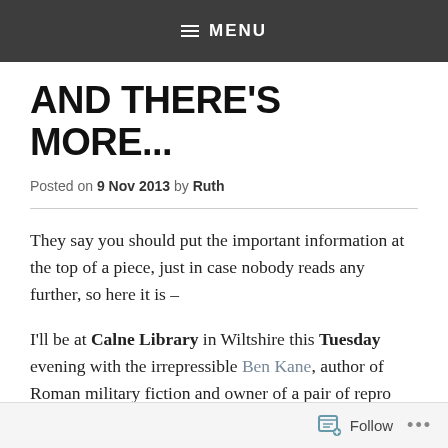≡ MENU
AND THERE'S MORE...
Posted on 9 Nov 2013 by Ruth
They say you should put the important information at the top of a piece, just in case nobody reads any further, so here it is –
I'll be at Calne Library in Wiltshire this Tuesday evening with the irrepressible Ben Kane, author of Roman military fiction and owner of a pair of repro Roman boots that
Follow ...